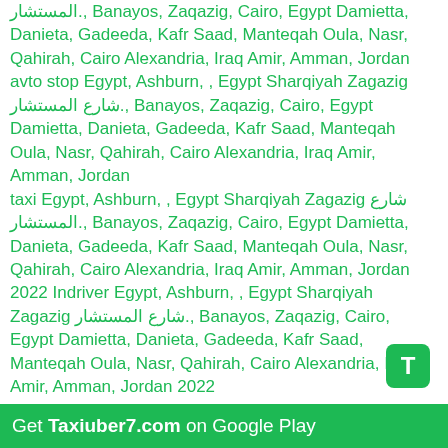المستشار, Banayos, Zaqazig, Cairo, Egypt Damietta, Danieta, Gadeeda, Kafr Saad, Manteqah Oula, Nasr, Qahirah, Cairo Alexandria, Iraq Amir, Amman, Jordan
avto stop Egypt, Ashburn, , Egypt Sharqiyah Zagazig شارع المستشار., Banayos, Zaqazig, Cairo, Egypt Damietta, Danieta, Gadeeda, Kafr Saad, Manteqah Oula, Nasr, Qahirah, Cairo Alexandria, Iraq Amir, Amman, Jordan
taxi Egypt, Ashburn, , Egypt Sharqiyah Zagazig شارع المستشار., Banayos, Zaqazig, Cairo, Egypt Damietta, Danieta, Gadeeda, Kafr Saad, Manteqah Oula, Nasr, Qahirah, Cairo Alexandria, Iraq Amir, Amman, Jordan 2022 Indriver Egypt, Ashburn, , Egypt Sharqiyah Zagazig شارع المستشار., Banayos, Zaqazig, Cairo, Egypt Damietta, Danieta, Gadeeda, Kafr Saad, Manteqah Oula, Nasr, Qahirah, Cairo Alexandria, Iraq Amir, Amman, Jordan 2022
poparide Egypt, Ashburn, , Egypt Sharqiyah Zagazig شارع المستشار., Banayos, Zaqazig, Cairo, Egypt Damietta, Danieta, Gadeeda, Kafr Saad, Manteqah Oula, Nasr, Qahirah, Cairo Alexandria, Iraq Amir, Amman, Jordan
taksi Egypt, Ashburn, , Egypt Sharqiyah Zagazig شارع المستشار., Banayos, Zaqazig, Cairo, Egypt Damietta, Danieta, Gadeeda, Kafr Saad, Manteqah Oula, Nasr, Qahirah, Cairo Alexandria, Iraq Amir, Amman, Jordan
uber Egypt, Ashburn, , Egypt Sharqiyah Zagazig شارع المستشار., Banayos, Zaqazig, Cairo, Egypt Damietta, Danieta, Gadeeda, Kafr Saad, Manteqah Oula, Nasr, Qahirah, Cairo Alexandria, Iraq Amir,
Get Taxiuber7.com on Google Play